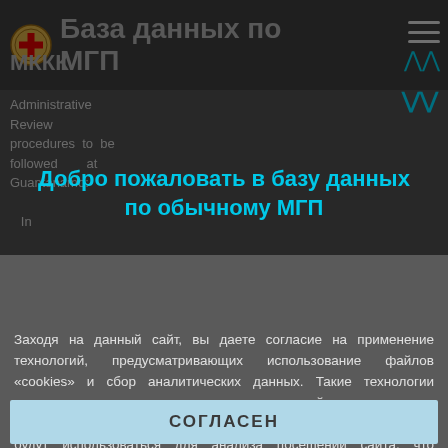База данных по МГП
МККК
Administrative Review procedures to be followed at Guantanamo:

In accordance with the
Добро пожаловать в базу данных по обычному МГП
Русский
Заходя на данный сайт, вы даете согласие на применение технологий, предусматривающих использование файлов «cookies» и сбор аналитических данных. Такие технологии позволяют настраивать содержание сайта, рекламные объявления и предоставлять функции социальных сетей. Они будут использоваться для анализа посещений сайта, что позволит нам понять предпочтения посетителей и улучшить предоставляемые услуги. Узнать больше
СОГЛАСЕН